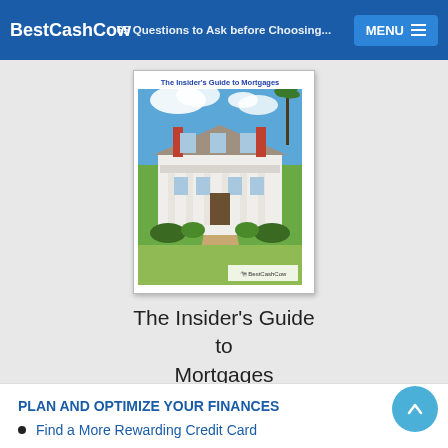BestCashCow | 65 Questions to Ask before Choosing... | MENU
[Figure (illustration): Book cover for 'The Insider's Guide to Mortgages' showing a large white colonial mansion with pillars under a blue sky, with BestCashCow logo at bottom.]
The Insider's Guide to Mortgages
Download
PLAN AND OPTIMIZE YOUR FINANCES
Find a More Rewarding Credit Card